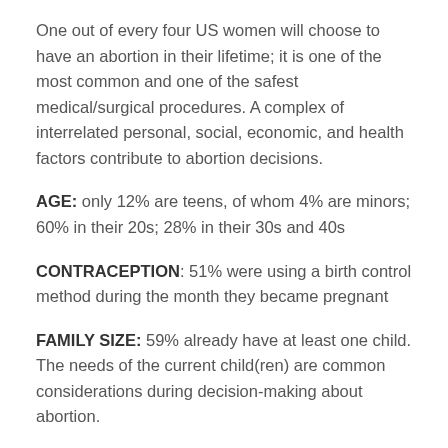One out of every four US women will choose to have an abortion in their lifetime; it is one of the most common and one of the safest medical/surgical procedures. A complex of interrelated personal, social, economic, and health factors contribute to abortion decisions.
AGE: only 12% are teens, of whom 4% are minors; 60% in their 20s; 28% in their 30s and 40s
CONTRACEPTION: 51% were using a birth control method during the month they became pregnant
FAMILY SIZE: 59% already have at least one child. The needs of the current child(ren) are common considerations during decision-making about abortion.
INCOME: 75% poor or low income. People at higher income levels are better equipped to prevent pregnancy including